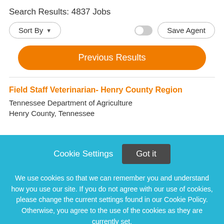Search Results: 4837 Jobs
[Figure (screenshot): Sort By dropdown button and Save Agent button with toggle switch]
[Figure (screenshot): Previous Results orange rounded button]
Field Staff Veterinarian- Henry County Region
Tennessee Department of Agriculture
Henry County, Tennessee
[Figure (screenshot): Cookie consent overlay with Cookie Settings and Got it button]
We use cookies so that we can remember you and understand how you use our site. If you do not agree with our use of cookies, please change the current settings found in our Cookie Policy. Otherwise, you agree to the use of the cookies as they are currently set.